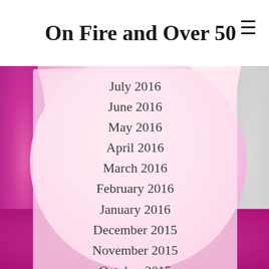On Fire and Over 50
July 2016
June 2016
May 2016
April 2016
March 2016
February 2016
January 2016
December 2015
November 2015
October 2015
RSS Feed